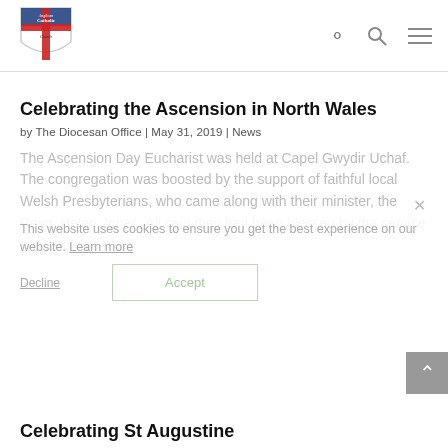[Figure (logo): Anglican Catholic Church logo - shield with cross and text]
Celebrating the Ascension in North Wales
by The Diocesan Office | May 31, 2019 | News
The Ascension Day Eucharist was held at Capel Gwydir Uchaf. The congregation was boosted by the support of faithful local Welsh Presbyterians, who came along with their minister, the Revd. Helen Jones. All said they had been blessed by the service and had enjoyed it.
This website uses cookies to ensure you get the best experience on our website. Learn more
Decline    Accept
Celebrating St Augustine